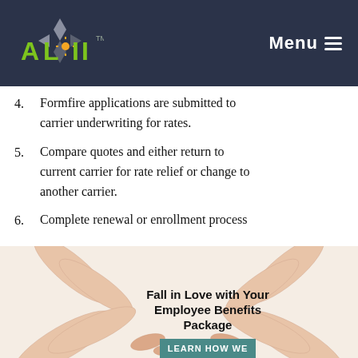ALJ Insurance — Menu
4. Formfire applications are submitted to carrier underwriting for rates.
5. Compare quotes and either return to current carrier for rate relief or change to another carrier.
6. Complete renewal or enrollment process
[Figure (photo): Two pairs of hands forming a heart shape with text 'Fall in Love with Your Employee Benefits Package' and a teal 'LEARN HOW WE' button]